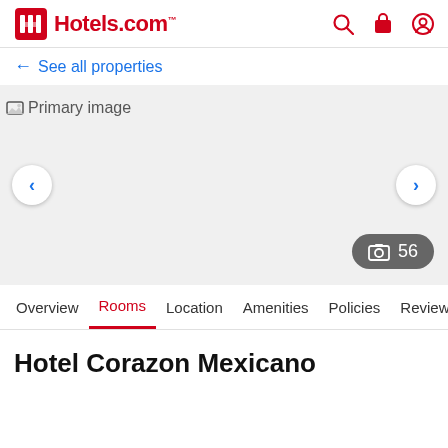Hotels.com
← See all properties
[Figure (photo): Primary image placeholder for hotel photo with navigation arrows and photo count badge showing 56 photos]
Overview | Rooms | Location | Amenities | Policies | Reviews
Hotel Corazon Mexicano